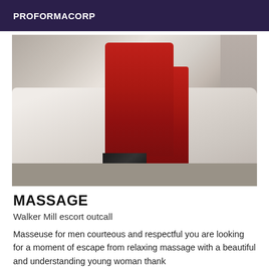PROFORMACORP
[Figure (photo): Photo showing legs of a woman wearing red stockings and black high heel platform shoes, standing on a white sheet or fabric on the floor.]
MASSAGE
Walker Mill escort outcall
Masseuse for men courteous and respectful you are looking for a moment of escape from relaxing massage with a beautiful and understanding young woman thank